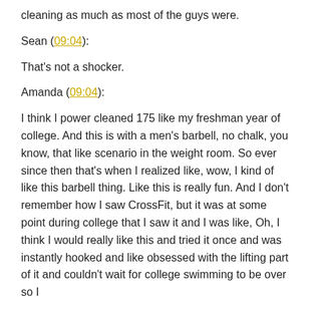cleaning as much as most of the guys were.
Sean (09:04):
That's not a shocker.
Amanda (09:04):
I think I power cleaned 175 like my freshman year of college. And this is with a men's barbell, no chalk, you know, that like scenario in the weight room. So ever since then that's when I realized like, wow, I kind of like this barbell thing. Like this is really fun. And I don't remember how I saw CrossFit, but it was at some point during college that I saw it and I was like, Oh, I think I would really like this and tried it once and was instantly hooked and like obsessed with the lifting part of it and couldn't wait for college swimming to be over so I